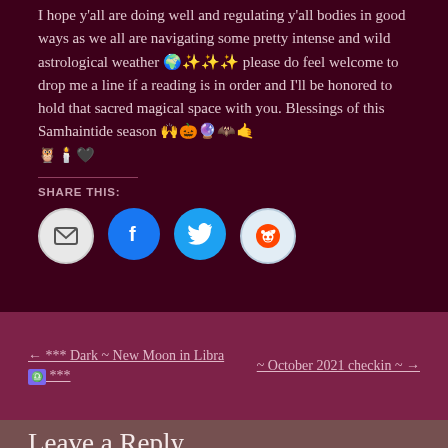I hope y'all are doing well and regulating y'all bodies in good ways as we all are navigating some pretty intense and wild astrological weather 🌍✨✨✨ please do feel welcome to drop me a line if a reading is in order and I'll be honored to hold that sacred magical space with you. Blessings of this Samhaintide season 🙌🎃🔮🦇🤙🦉🕯️🖤
Share this:
[Figure (other): Four social share buttons: email (grey circle), Facebook (blue circle with f icon), Twitter (blue circle with bird icon), Reddit (light blue circle with alien icon)]
← *** Dark ~ New Moon in Libra ♎ ***
~ October 2021 checkin ~ →
Leave a Reply
Your email address will not be published. Required fields are marked *